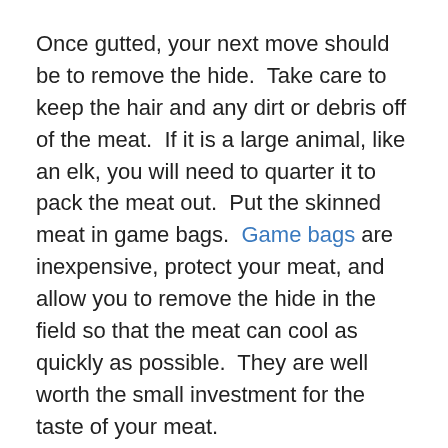Once gutted, your next move should be to remove the hide.  Take care to keep the hair and any dirt or debris off of the meat.  If it is a large animal, like an elk, you will need to quarter it to pack the meat out.  Put the skinned meat in game bags.  Game bags are inexpensive, protect your meat, and allow you to remove the hide in the field so that the meat can cool as quickly as possible.  They are well worth the small investment for the taste of your meat.
If you harvest a smaller animal such as a pronghorn or whitetail and wish to drag it from the field without quartering it, leave the hide on until you get it to a point where you can skin it as quickly as possible with out the meat becoming dirty. In either case, get the animal in coolers with ice as quickly as you can.  Keep coolers and ice in your vehicle.  If your animal is whole, saw though